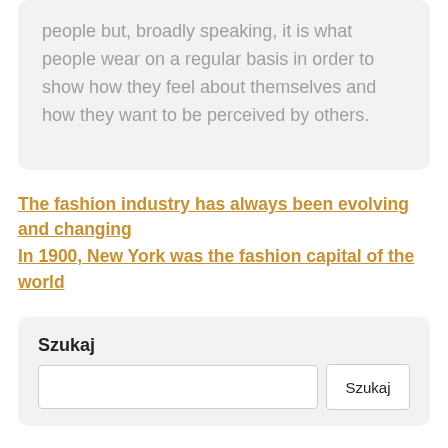people but, broadly speaking, it is what people wear on a regular basis in order to show how they feel about themselves and how they want to be perceived by others.
The fashion industry has always been evolving and changing
In 1900, New York was the fashion capital of the world
Szukaj